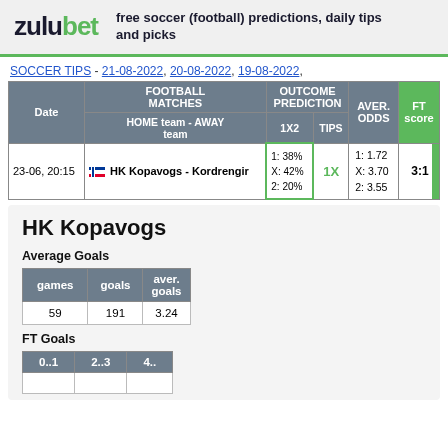zulubet - free soccer (football) predictions, daily tips and picks
SOCCER TIPS - 21-08-2022, 20-08-2022, 19-08-2022,
| Date | FOOTBALL MATCHES / HOME team - AWAY team | OUTCOME PREDICTION 1X2 | TIPS | AVER. ODDS 1X2 | FT score |
| --- | --- | --- | --- | --- | --- |
| 23-06, 20:15 | HK Kopavogs - Kordrengir | 1: 38% X: 42% 2: 20% | 1X | 1: 1.72 X: 3.70 2: 3.55 | 3:1 |
HK Kopavogs
Average Goals
| games | goals | aver. goals |
| --- | --- | --- |
| 59 | 191 | 3.24 |
FT Goals
| 0..1 | 2..3 | 4.. |
| --- | --- | --- |